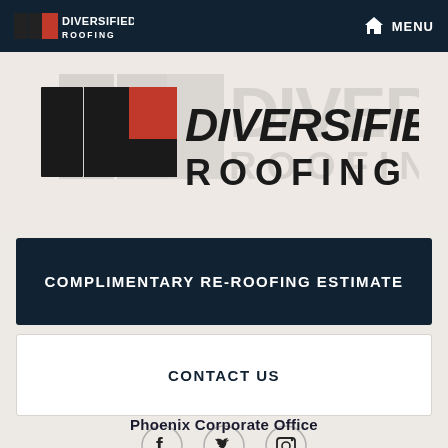DIVERSIFIED ROOFING | MENU
[Figure (logo): Diversified Roofing large logo with black and red geometric shapes and bold text]
COMPLIMENTARY RE-ROOFING ESTIMATE
CONTACT US
[Figure (infographic): Social media icons: Facebook, Twitter, Instagram in circular outlines]
Phoenix Corporate Office